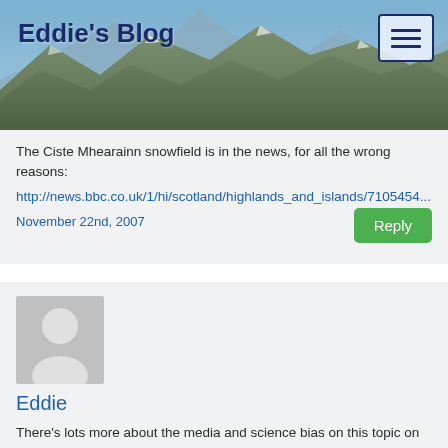[Figure (photo): Mountain landscape header banner with dark blue title 'Eddie's Blog' on the left and a hamburger menu button on the top right]
Eddie's Blog
The Ciste Mhearainn snowfield is in the news, for all the wrong reasons:
http://news.bbc.co.uk/1/hi/scotland/highlands_and_islands/7105454...
November 22nd, 2007
[Figure (photo): Default gray avatar placeholder image showing silhouette of a person]
Eddie
There's lots more about the media and science bias on this topic on this website:
http://www.iceagenow.com/
I'm sure a climate expert would say this is very much a personal website of a non-specialist, and they would probably point out that some of what it says is wrong, but what it does...